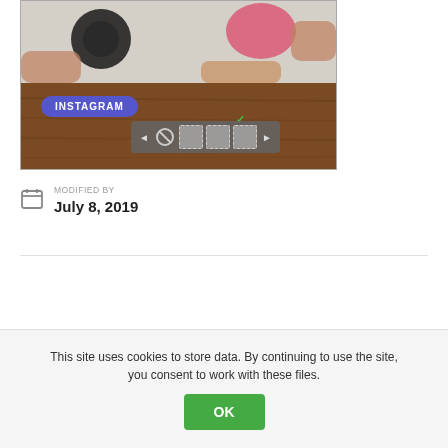[Figure (photo): Screenshot of an Instagram interface showing hands holding a pink object against a dark background, with a blue Instagram badge label and a editing toolbar with icons]
MODIFIED BY
July 8, 2019
This site uses cookies to store data. By continuing to use the site, you consent to work with these files.